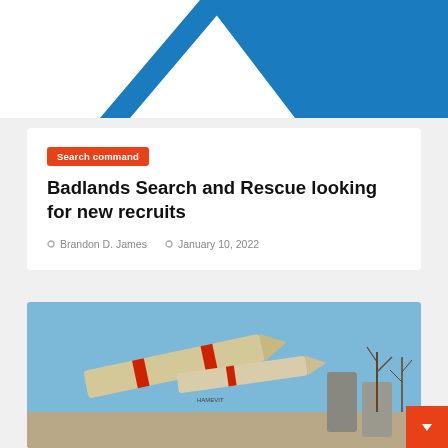[Figure (logo): Logo with blue geometric diagonal shapes (double parallel chevron/slash marks) on white background]
Search command
Badlands Search and Rescue looking for new recruits
Brandon D. James   January 10, 2022
[Figure (photo): Photo of missiles or rockets on display against a blue sky with bare trees in background]